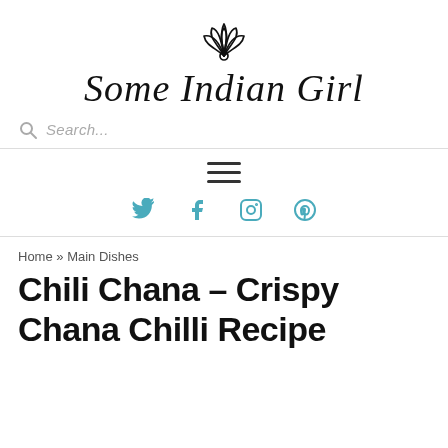[Figure (logo): Lotus flower icon (line art) centered at top of page]
Some Indian Girl
Search...
[Figure (other): Hamburger menu icon (three horizontal lines)]
[Figure (other): Social media icons: Twitter, Facebook, Instagram, Pinterest in teal/blue color]
Home » Main Dishes
Chili Chana – Crispy Chana Chilli Recipe